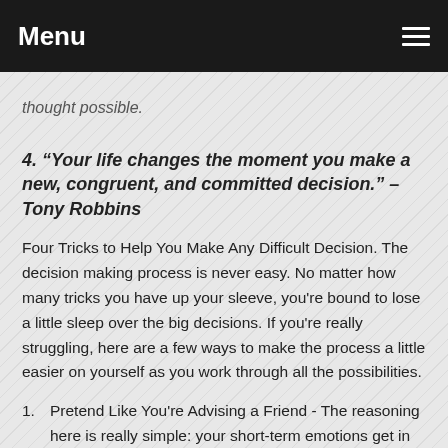Menu
thought possible.
4. “Your life changes the moment you make a new, congruent, and committed decision.” – Tony Robbins
Four Tricks to Help You Make Any Difficult Decision. The decision making process is never easy. No matter how many tricks you have up your sleeve, you're bound to lose a little sleep over the big decisions. If you're really struggling, here are a few ways to make the process a little easier on yourself as you work through all the possibilities.
1. Pretend Like You're Advising a Friend - The reasoning here is really simple: your short-term emotions get in the way of decisions, and that clouds your judgment. It's hard to break free of your emotions, but it helps to know they affect your choices.